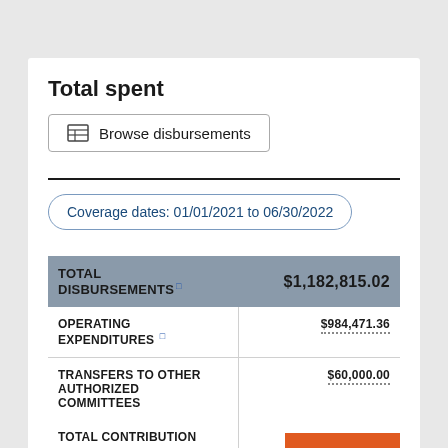Total spent
Browse disbursements
Coverage dates: 01/01/2021 to 06/30/2022
| Category | Amount |
| --- | --- |
| TOTAL DISBURSEMENTS | $1,182,815.02 |
| OPERATING EXPENDITURES | $984,471.36 |
| TRANSFERS TO OTHER AUTHORIZED COMMITTEES | $60,000.00 |
| TOTAL CONTRIBUTION |  |